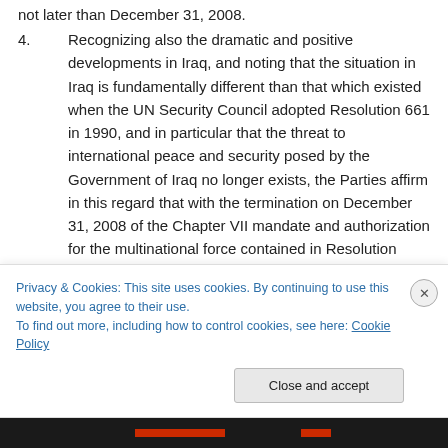not later than December 31, 2008.
4. Recognizing also the dramatic and positive developments in Iraq, and noting that the situation in Iraq is fundamentally different than that which existed when the UN Security Council adopted Resolution 661 in 1990, and in particular that the threat to international peace and security posed by the Government of Iraq no longer exists, the Parties affirm in this regard that with the termination on December 31, 2008 of the Chapter VII mandate and authorization for the multinational force contained in Resolution 1790, Iraq
Privacy & Cookies: This site uses cookies. By continuing to use this website, you agree to their use.
To find out more, including how to control cookies, see here: Cookie Policy